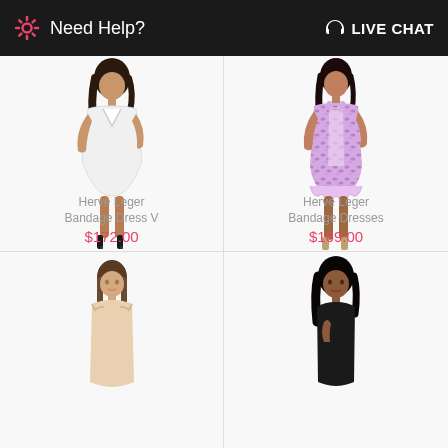Need Help? | LIVE CHAT
[Figure (photo): Model wearing white bandage dress V, Herve Leger, $172.00]
[Figure (photo): Model wearing purple snake print Herve Leger Bandage Dresses, $169.00]
[Figure (photo): Model wearing nude/beige dress, partially visible]
[Figure (photo): Model wearing black outfit, partially visible]